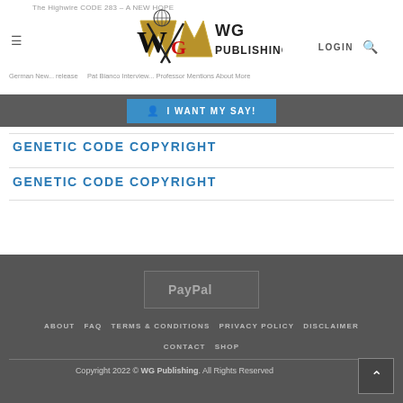The Highwire CODE 283 - A NEW HOPE | German New... release | Pat Bianco Interview... Professor Mentions About More
[Figure (logo): WG Publishing logo with masonic square and compass, golden W and M shapes, red G, and text WG PUBLISHING]
LOGIN
I WANT MY SAY!
GENETIC CODE COPYRIGHT
GENETIC CODE COPYRIGHT
[Figure (logo): PayPal button/logo in dark gray box]
ABOUT  FAQ  TERMS & CONDITIONS  PRIVACY POLICY  DISCLAIMER  CONTACT  SHOP
Copyright 2022 © WG Publishing. All Rights Reserved